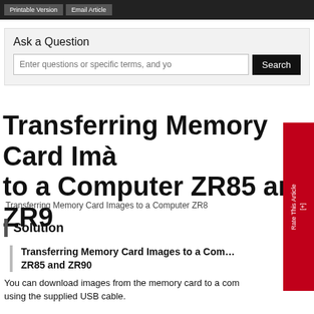Printable Version  Email Article
Ask a Question
Enter questions or specific terms, and yo   Search
Transferring Memory Card Images to a Computer ZR85 and ZR90
Transferring Memory Card Images to a Computer ZR85
Solution
Transferring Memory Card Images to a Computer ZR85 and ZR90
You can download images from the memory card to a computer using the supplied USB cable.